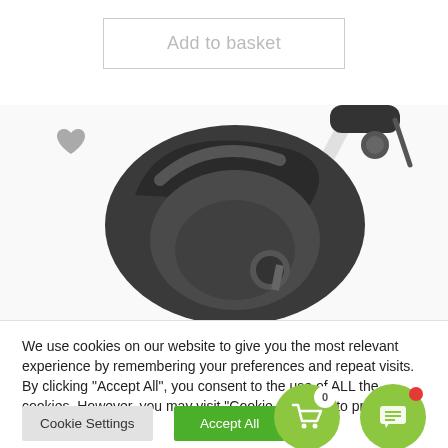[Figure (screenshot): Add to basket button - grey outlined button with light grey text]
[Figure (photo): Baby car seat / infant carrier in dark grey attached to a stroller frame with white bar, shown at an angle on white background. A grey heart/favourite icon is visible in the upper left of the product area.]
We use cookies on our website to give you the most relevant experience by remembering your preferences and repeat visits. By clicking “Accept All”, you consent to the use of ALL the cookies. However, you may visit "Cookie Settings" to provide a controlled consent.
[Figure (screenshot): Cookie Settings button (grey) and Accept All button (green), with floating cart icon (green circle, badge showing 0) and floating chat/message icon (green circle with red dot badge)]